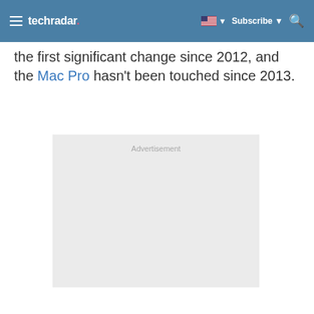techradar — Subscribe
the first significant change since 2012, and the Mac Pro hasn't been touched since 2013.
[Figure (other): Advertisement placeholder box with light gray background]